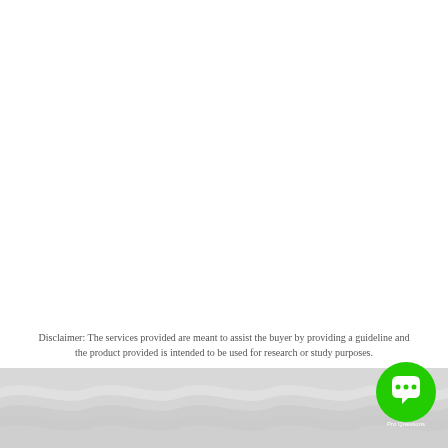Disclaimer: The services provided are meant to assist the buyer by providing a guideline and the product provided is intended to be used for research or study purposes.
[Figure (illustration): Wavy gray decorative footer pattern at the bottom of the page]
[Figure (illustration): Green circular chat/messenger icon button in the bottom right corner]